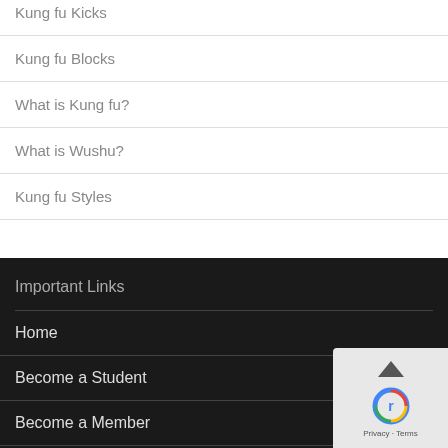Kung fu Kicks
Kung fu Blocks
What is Kung fu?
What is Wushu?
Kung fu Styles
Important Links
Home
Become a Student
Become a Member